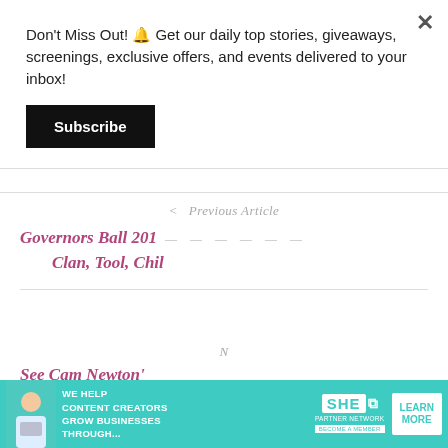Don't Miss Out! 🔔 Get our daily top stories, giveaways, screenings, exclusive offers, and events delivered to your inbox!
Subscribe
‹  Previous Article
Governors Ball 201… Clan, Tool, Chil…
N
See Cam Newton's…
C…
[Figure (advertisement): SHE Media Partner Network advertisement banner with teal background, photo of woman with laptop, text 'WE HELP CONTENT CREATORS GROW BUSINESSES THROUGH...', SHE logo, and 'LEARN MORE' button]